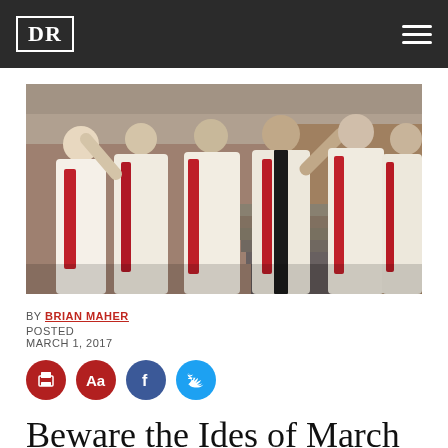DR
[Figure (photo): Group of people dressed in Roman togas with red and white garments standing near stone steps, some with arms raised]
BY BRIAN MAHER
POSTED
MARCH 1, 2017
[Figure (infographic): Row of four social sharing buttons: print (red), font size Aa (red), Facebook (blue), Twitter (light blue)]
Beware the Ides of March